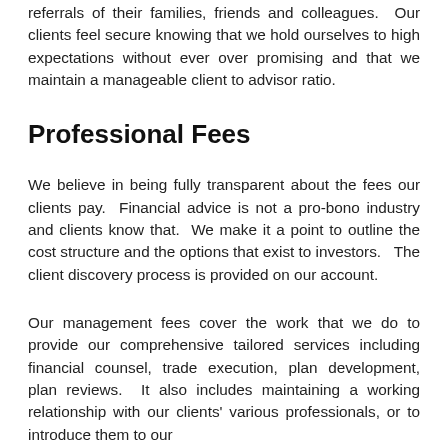referrals of their families, friends and colleagues. Our clients feel secure knowing that we hold ourselves to high expectations without ever over promising and that we maintain a manageable client to advisor ratio.
Professional Fees
We believe in being fully transparent about the fees our clients pay. Financial advice is not a pro-bono industry and clients know that. We make it a point to outline the cost structure and the options that exist to investors. The client discovery process is provided on our account.
Our management fees cover the work that we do to provide our comprehensive tailored services including financial counsel, trade execution, plan development, plan reviews. It also includes maintaining a working relationship with our clients' various professionals, or to introduce them to our